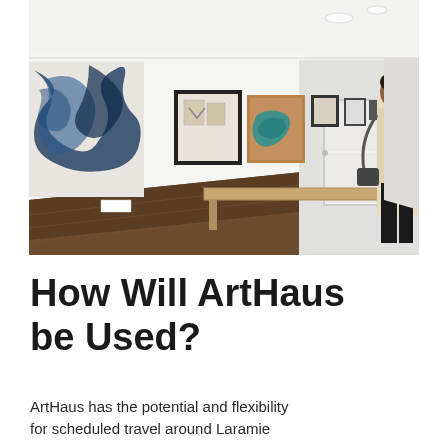[Figure (photo): Interior of an art gallery hallway with white walls displaying multiple framed artworks. On the left is a large abstract painting with blue/dark brushstrokes. Further along the wall are several smaller framed pieces. A person in a beige jacket stands at the far right viewing the artwork. The floor is dark hardwood and there is a wooden bench along the right wall.]
How Will ArtHaus be Used?
ArtHaus has the potential and flexibility for scheduled travel around Laramie